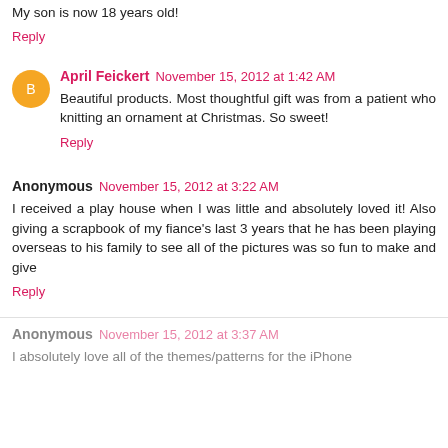My son is now 18 years old!
Reply
April Feickert November 15, 2012 at 1:42 AM
Beautiful products. Most thoughtful gift was from a patient who knitting an ornament at Christmas. So sweet!
Reply
Anonymous November 15, 2012 at 3:22 AM
I received a play house when I was little and absolutely loved it! Also giving a scrapbook of my fiance's last 3 years that he has been playing overseas to his family to see all of the pictures was so fun to make and give
Reply
Anonymous November 15, 2012 at 3:37 AM
I absolutely love all of the themes/patterns for the iPhone